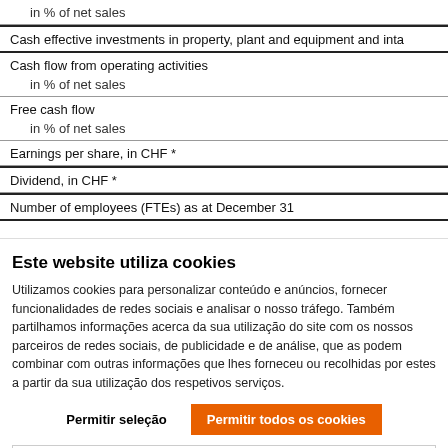| in % of net sales |
| Cash effective investments in property, plant and equipment and inta |
| Cash flow from operating activities |
| in % of net sales |
| Free cash flow |
| in % of net sales |
| Earnings per share, in CHF * |
| Dividend, in CHF * |
| Number of employees (FTEs) as at December 31 |
Este website utiliza cookies
Utilizamos cookies para personalizar conteúdo e anúncios, fornecer funcionalidades de redes sociais e analisar o nosso tráfego. Também partilhamos informações acerca da sua utilização do site com os nossos parceiros de redes sociais, de publicidade e de análise, que as podem combinar com outras informações que lhes forneceu ou recolhidas por estes a partir da sua utilização dos respetivos serviços.
Permitir seleção
Permitir todos os cookies
✓ Necessários  ☐ Preferências  ☐ Estatísticas  ☐ Marketing  Mostrar detalhes